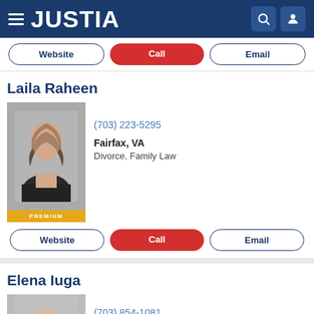JUSTIA
Website | Call | Email
Laila Raheen
[Figure (photo): Professional headshot of attorney Laila Raheen wearing a blazer, with long brown hair, PREMIUM badge below]
(703) 223-5295
Fairfax, VA
Divorce, Family Law
Website | Call | Email
Elena Iuga
[Figure (photo): Professional headshot of attorney Elena Iuga wearing glasses and a dark polka-dot top, PREMIUM badge below]
(703) 854-1081
Falls Church, VA
Divorce, Family Law, Domestic Violence